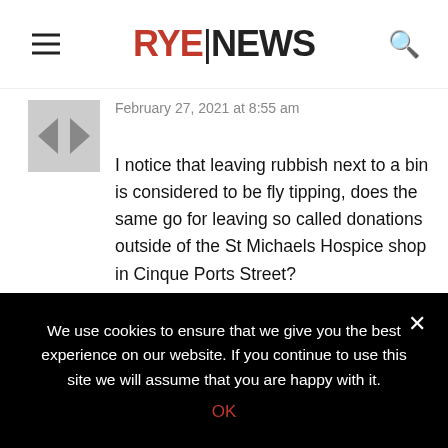RYE|NEWS
February 27, 2021 at 8:55 am
I notice that leaving rubbish next to a bin is considered to be fly tipping, does the same go for leaving so called donations outside of the St Michaels Hospice shop in Cinque Ports Street?
The shop has obviously been shut for sometime and there are notices asking people not to leave their donations in the doorway.
Do people not realise that the charity will end up having to get rid of what will end up being no better than rubbish, so not only are they not helping the charity but they are costing them money.
Some may do this with the best of intentions but other
We use cookies to ensure that we give you the best experience on our website. If you continue to use this site we will assume that you are happy with it.
OK